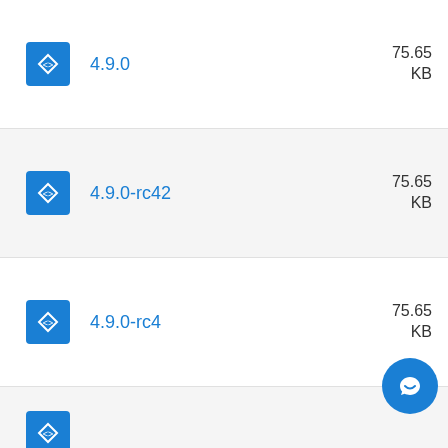4.9.0, 75.65 KB
4.9.0-rc42, 75.65 KB
4.9.0-rc4, 75.65 KB